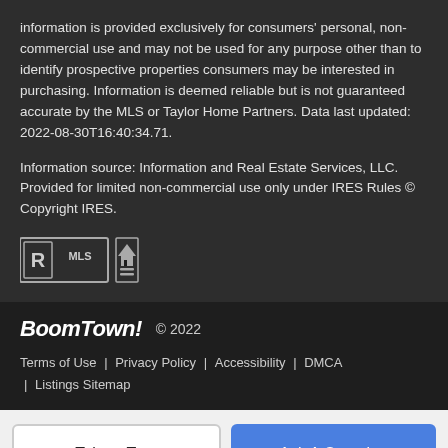information is provided exclusively for consumers' personal, non-commercial use and may not be used for any purpose other than to identify prospective properties consumers may be interested in purchasing. Information is deemed reliable but is not guaranteed accurate by the MLS or Taylor Home Partners. Data last updated: 2022-08-30T16:40:34.71.
Information source: Information and Real Estate Services, LLC. Provided for limited non-commercial use only under IRES Rules © Copyright IRES.
[Figure (logo): MLS Realtor logo and Equal Housing logo]
BoomTown! © 2022
Terms of Use | Privacy Policy | Accessibility | DMCA | Listings Sitemap
Take a Tour
Ask A Question